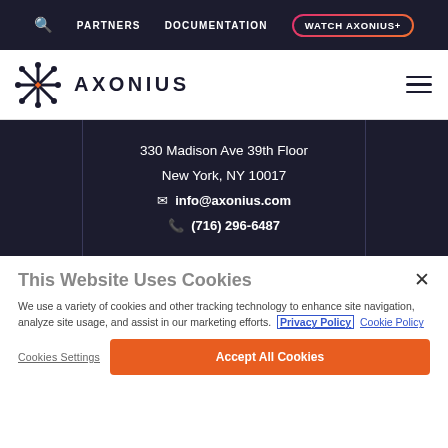🔍  PARTNERS  DOCUMENTATION  WATCH AXONIUS+
[Figure (logo): Axonius logo with stylized X mark and AXONIUS wordmark, plus hamburger menu icon]
330 Madison Ave 39th Floor
New York, NY 10017
✉ info@axonius.com
📞 (716) 296-6487
This Website Uses Cookies
We use a variety of cookies and other tracking technology to enhance site navigation, analyze site usage, and assist in our marketing efforts. Privacy Policy Cookie Policy
Cookies Settings
Accept All Cookies